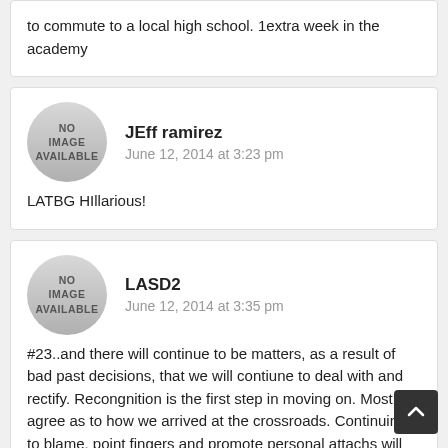to commute to a local high school. 1extra week in the academy
JEff ramirez
June 12, 2014 at 3:23 pm
LATBG HIllarious!
LASD2
June 12, 2014 at 3:35 pm
#23..and there will continue to be matters, as a result of bad past decisions, that we will contiune to deal with and rectify. Recongnition is the first step in moving on. Most agree as to how we arrived at the crossroads. Continuing to blame, point fingers and promote personal attachs will not move us forward